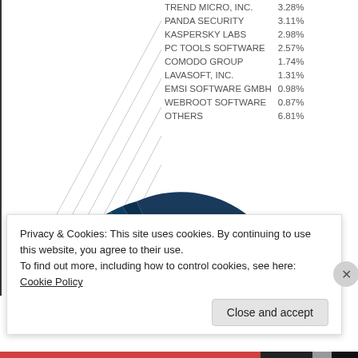[Figure (pie-chart): Antivirus Market Share]
Privacy & Cookies: This site uses cookies. By continuing to use this website, you agree to their use.
To find out more, including how to control cookies, see here: Cookie Policy